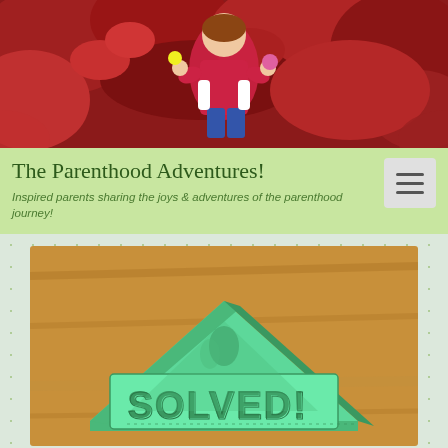[Figure (photo): Child in red/pink shirt holding flowers among red foliage, banner/header photo for The Parenthood Adventures blog]
The Parenthood Adventures!
Inspired parents sharing the joys & adventures of the parenthood journey!
[Figure (photo): Green 3D-printed triangular object with the word SOLVED! embossed on its face, sitting on a wooden table surface]
Adventure Update # 051: